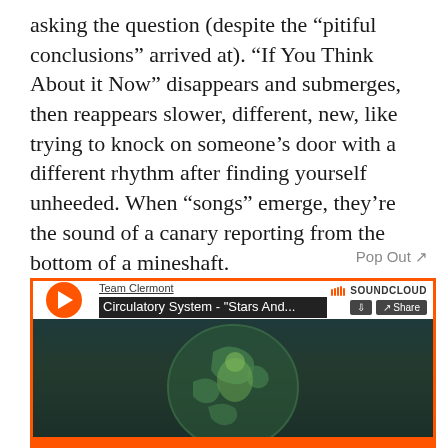asking the question (despite the “pitiful conclusions” arrived at). “If You Think About it Now” disappears and submerges, then reappears slower, different, new, like trying to knock on someone’s door with a different rhythm after finding yourself unheeded. When “songs” emerge, they’re the sound of a canary reporting from the bottom of a mineshaft.
Pop Out ↗
[Figure (screenshot): SoundCloud embedded music player showing Team Clermont / Circulatory System - Stars And... track, with a dark background featuring a green globe/earth illustration and an orange play button and border.]